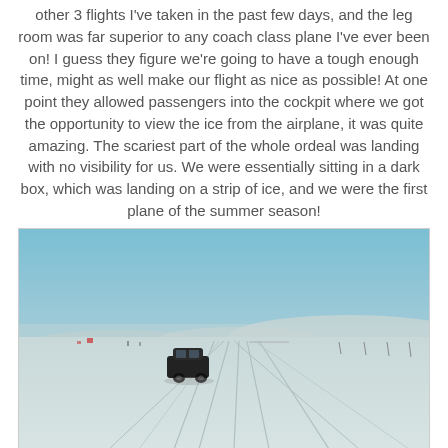other 3 flights I've taken in the past few days, and the leg room was far superior to any coach class plane I've ever been on! I guess they figure we're going to have a tough enough time, might as well make our flight as nice as possible! At one point they allowed passengers into the cockpit where we got the opportunity to view the ice from the airplane, it was quite amazing. The scariest part of the whole ordeal was landing with no visibility for us. We were essentially sitting in a dark box, which was landing on a strip of ice, and we were the first plane of the summer season!
[Figure (photo): A wide open snowy/icy airstrip or tundra landscape under a blue-grey sky. A dark SUV or vehicle is visible on the left side of the ice runway. Tire tracks mark the icy surface. Hills or snowdrifts are visible in the background.]